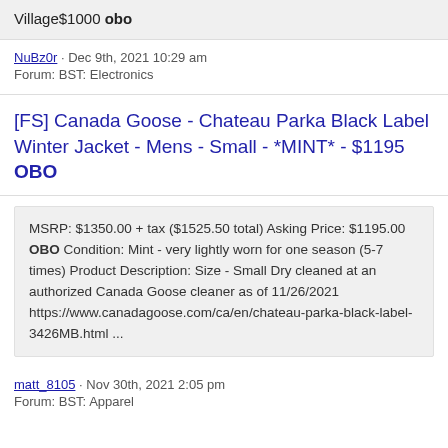Village$1000 obo
NuBz0r · Dec 9th, 2021 10:29 am
Forum: BST: Electronics
[FS] Canada Goose - Chateau Parka Black Label Winter Jacket - Mens - Small - *MINT* - $1195 OBO
MSRP: $1350.00 + tax ($1525.50 total) Asking Price: $1195.00 OBO Condition: Mint - very lightly worn for one season (5-7 times) Product Description: Size - Small Dry cleaned at an authorized Canada Goose cleaner as of 11/26/2021
https://www.canadagoose.com/ca/en/chateau-parka-black-label-3426MB.html ...
matt_8105 · Nov 30th, 2021 2:05 pm
Forum: BST: Apparel